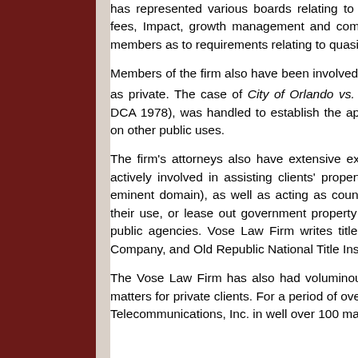has represented various boards relating to community development issues, impact fees, Impact, growth management and comprehensive plan, as well as advising board members as to requirements relating to quasi-judicial boards.
Members of the firm also have been involved in litigation on behalf of public clients as well as private. The case of City of Orlando vs. The School Board, 357 So.2d 694 (Fla. 4th DCA 1978), was handled by firm to establish the appellate law in Florida relating to spot zoning on other public uses.
The firm's attorneys also have extensive experience in real estate law, and have been actively involved in assisting clients' property acquisitions, (through both purchase and eminent domain), as well as acting as counsel when public agencies lease property for their use, or lease out government property to private individuals or entities, or to other public agencies. Vose Law Firm writes title insurance through Lawyers Title Insurance Company, and Old Republic National Title Insurance Company.
The Vose Law Firm has also had voluminous experience in title and real estate related matters for private clients. For a period of over eleven (11) years, Becky Vose represented Telecommunications, Inc. in well over 100 matters...